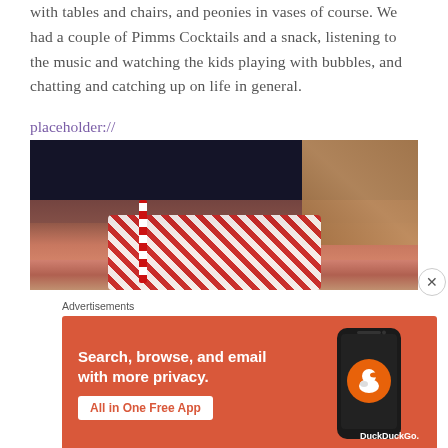with tables and chairs, and peonies in vases of course. We had a couple of Pimms Cocktails and a snack, listening to the music and watching the kids playing with bubbles, and chatting and catching up on life in general.
placeholder://
[Figure (photo): Blurred close-up photo of party items including striped red and white straws and a wicker/basket item in the background, on a dark background.]
Advertisements
[Figure (photo): DuckDuckGo advertisement with orange background. Text reads: Search, browse, and email with more privacy. All in One Free App. Shows a smartphone with DuckDuckGo logo.]